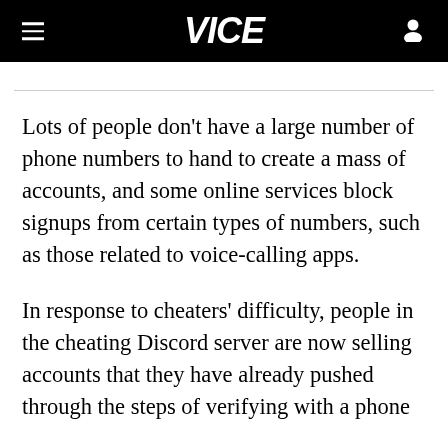VICE
Lots of people don't have a large number of phone numbers to hand to create a mass of accounts, and some online services block signups from certain types of numbers, such as those related to voice-calling apps.
In response to cheaters' difficulty, people in the cheating Discord server are now selling accounts that they have already pushed through the steps of verifying with a phone